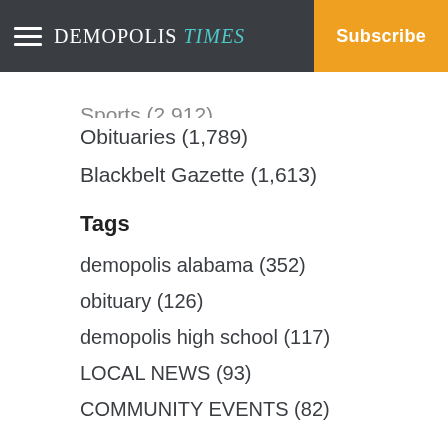Demopolis Times | Subscribe
Sports (2,912)
Obituaries (1,789)
Blackbelt Gazette (1,613)
Tags
demopolis alabama (352)
obituary (126)
demopolis high school (117)
LOCAL NEWS (93)
COMMUNITY EVENTS (82)
Year